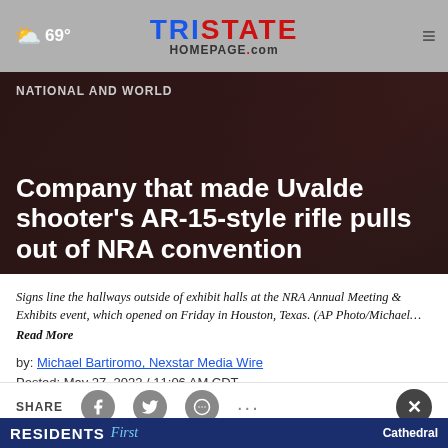69° TRISTATE HOMEPAGE.com
NATIONAL AND WORLD
Company that made Uvalde shooter's AR-15-style rifle pulls out of NRA convention
Signs line the hallways outside of exhibit halls at the NRA Annual Meeting & Exhibits event, which opened on Friday in Houston, Texas. (AP Photo/Michael… Read More
by: Michael Bartiromo, Nexstar Media Wire
Posted: May 27, 2022 / 11:06 AM CDT
Updated: May 27, 2022 / 02:04 PM CDT
[Figure (screenshot): Share bar with Facebook, Twitter, and messaging icons, and a close button]
[Figure (infographic): Advertisement banner: Residents First - Cathedral]